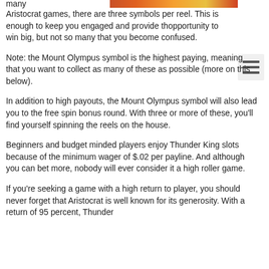many Aristocrat games, there are three symbols per reel. This is enough to keep you engaged and provide the opportunity to win big, but not so many that you become confused.
Note: the Mount Olympus symbol is the highest paying, meaning that you want to collect as many of these as possible (more on this below).
In addition to high payouts, the Mount Olympus symbol will also lead you to the free spin bonus round. With three or more of these, you'll find yourself spinning the reels on the house.
Beginners and budget minded players enjoy Thunder King slots because of the minimum wager of $.02 per payline. And although you can bet more, nobody will ever consider it a high roller game.
If you're seeking a game with a high return to player, you should never forget that Aristocrat is well known for its generosity. With a return of 95 percent, Thunder